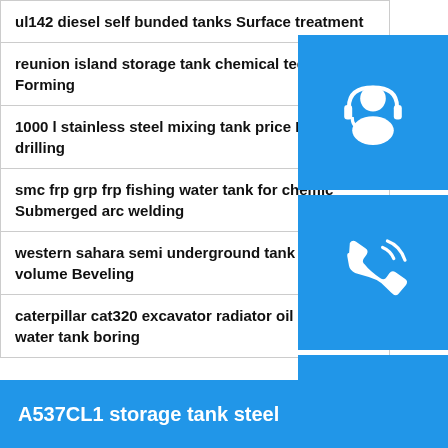ul142 diesel self bunded tanks Surface treatment
reunion island storage tank chemical technology Forming
1000 l stainless steel mixing tank price Hole drilling
smc frp grp frp fishing water tank for chemical Submerged arc welding
western sahara semi underground tank chemical volume Beveling
caterpillar cat320 excavator radiator oil cooler water tank boring
[Figure (illustration): Three blue sidebar buttons: headset/support icon, telephone icon, and Skype icon]
A537CL1 storage tank steel